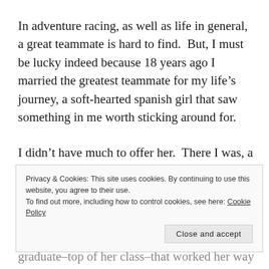In adventure racing, as well as life in general, a great teammate is hard to find.  But, I must be lucky indeed because 18 years ago I married the greatest teammate for my life's journey, a soft-hearted spanish girl that saw something in me worth sticking around for.
I didn't have much to offer her.  There I was, a pack-a-day cigarette smoking enlisted guy in the Air Force, an F-15 aircraft mechanic that routinely ended my day exhausted and covered in hydraulic fluid or jet fuel.
Privacy & Cookies: This site uses cookies. By continuing to use this website, you agree to their use.
To find out more, including how to control cookies, see here: Cookie Policy
Close and accept
graduate–top of her class–that worked her way through